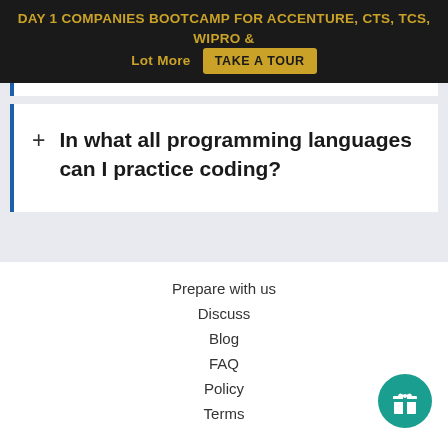DAY 1 COMPANIES BOOTCAMP FOR ACCENTURE, CTS, TCS, WIPRO & Lot More  TAKE A TOUR
+ In what all programming languages can I practice coding?
Prepare with us
Discuss
Blog
FAQ
Policy
Terms
[Figure (illustration): Teal circular gift icon button in the bottom right corner]